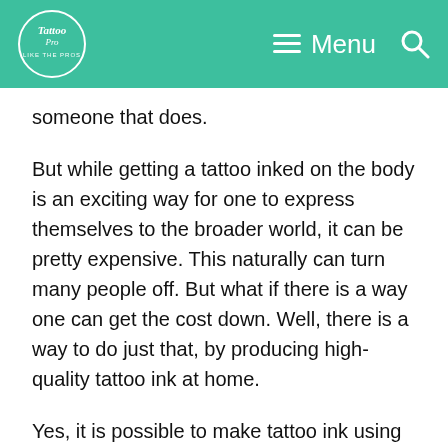Tattoo Pro - Like the Pros | Menu
someone that does.
But while getting a tattoo inked on the body is an exciting way for one to express themselves to the broader world, it can be pretty expensive. This naturally can turn many people off. But what if there is a way one can get the cost down. Well, there is a way to do just that, by producing high-quality tattoo ink at home.
Yes, it is possible to make tattoo ink using household items like paper and glycerin. It is overall a straightforward process. So, if you are wondering how to make tattoo ink using household items, we will help you out.